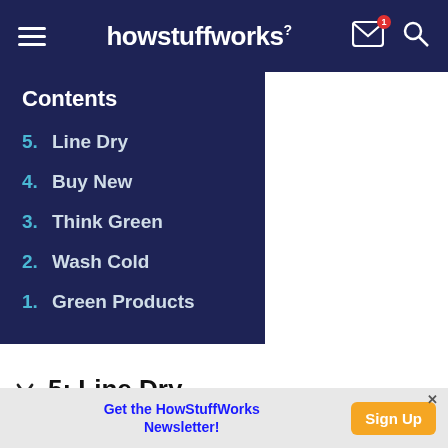howstuffworks
Contents
5. Line Dry
4. Buy New
3. Think Green
2. Wash Cold
1. Green Products
5: Line Dry
In the olden days, before homes had two-car
Get the HowStuffWorks Newsletter! Sign Up